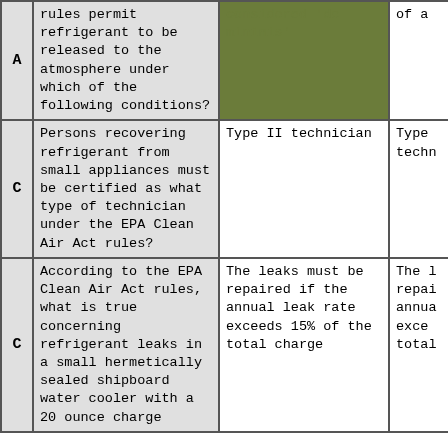|  | Question | Answer (correct) | Answer (partial) |
| --- | --- | --- | --- |
| A | rules permit refrigerant to be released to the atmosphere under which of the following conditions? | considered 'de minimis' | of a... |
| C | Persons recovering refrigerant from small appliances must be certified as what type of technician under the EPA Clean Air Act rules? | Type II technician | Type techn... |
| C | According to the EPA Clean Air Act rules, what is true concerning refrigerant leaks in a small hermetically sealed shipboard water cooler with a 20 ounce charge | The leaks must be repaired if the annual leak rate exceeds 15% of the total charge | The l repai annua exce total... |